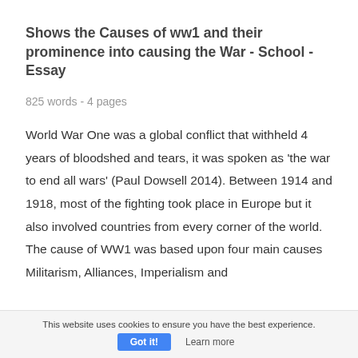Shows the Causes of ww1 and their prominence into causing the War - School - Essay
825 words - 4 pages
World War One was a global conflict that withheld 4 years of bloodshed and tears, it was spoken as ‘the war to end all wars’ (Paul Dowsell 2014). Between 1914 and 1918, most of the fighting took place in Europe but it also involved countries from every corner of the world. The cause of WW1 was based upon four main causes Militarism, Alliances, Imperialism and
This website uses cookies to ensure you have the best experience.
Got it!
Learn more